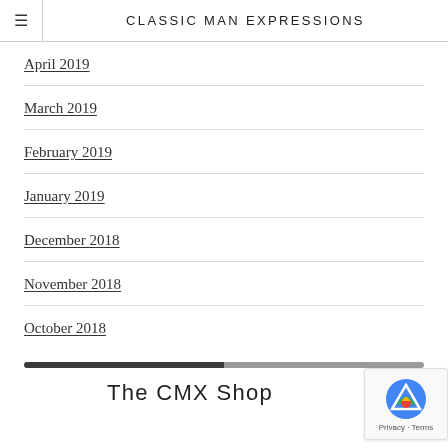CLASSIC MAN EXPRESSIONS
April 2019
March 2019
February 2019
January 2019
December 2018
November 2018
October 2018
The CMX Shop